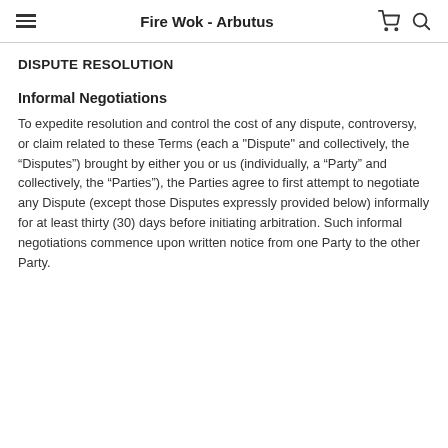Fire Wok - Arbutus
DISPUTE RESOLUTION
Informal Negotiations
To expedite resolution and control the cost of any dispute, controversy, or claim related to these Terms (each a "Dispute" and collectively, the “Disputes”) brought by either you or us (individually, a “Party” and collectively, the “Parties”), the Parties agree to first attempt to negotiate any Dispute (except those Disputes expressly provided below) informally for at least thirty (30) days before initiating arbitration. Such informal negotiations commence upon written notice from one Party to the other Party.